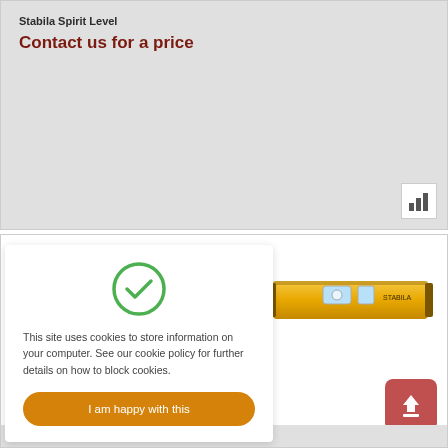Stabila Spirit Level
Contact us for a price
[Figure (infographic): Cookie consent overlay with green checkmark circle, cookie policy text, and orange accept button. In the background, a yellow Stabila spirit level tool and a red upload icon button are visible.]
This site uses cookies to store information on your computer. See our cookie policy for further details on how to block cookies.
I am happy with this
Stabila 2 Vial Spirit Level